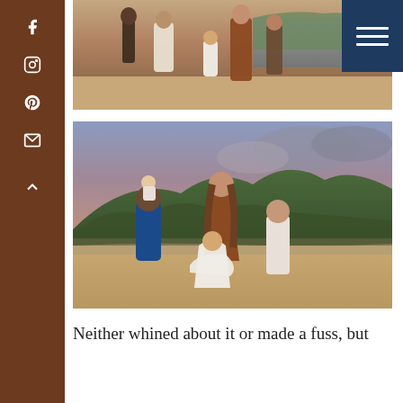[Figure (photo): Top photo: family group walking on a sandy beach at sunset, featuring adults and children in flowing dresses (white and rust/brown tones), mountains and ocean visible in background.]
[Figure (photo): Bottom photo: family of five on a beach at dusk — a man in blue shirt holding an infant, a woman in rust/brown dress spinning a young girl in a white dress, and another girl in a white blouse standing nearby; dramatic green mountains and stormy sky in background.]
Neither whined about it or made a fuss, but